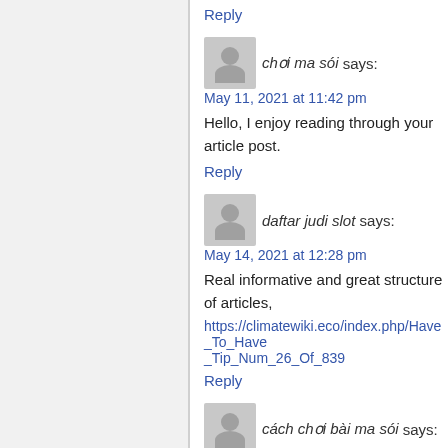Reply
chơi ma sói says:
May 11, 2021 at 11:42 pm
Hello, I enjoy reading through your article post.
Reply
daftar judi slot says:
May 14, 2021 at 12:28 pm
Real informative and great structure of articles,
https://climatewiki.eco/index.php/Have_To_Have_Tip_Num_26_Of_839
Reply
cách chơi bài ma sói says:
May 15, 2021 at 2:46 am
Good write-up. I certainly appreciate this site. Thanks!
Reply